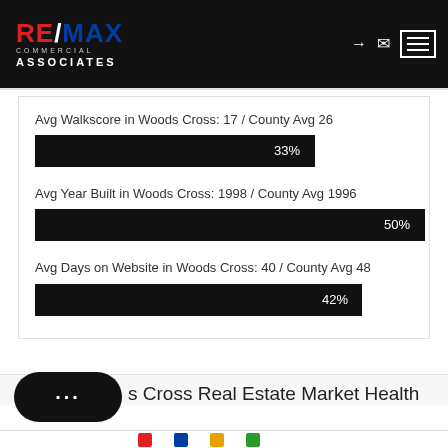[Figure (logo): RE/MAX Commercial Associates logo on black header background]
Avg Walkscore in Woods Cross: 17 / County Avg 26
[Figure (bar-chart): Avg Walkscore]
Avg Year Built in Woods Cross: 1998 / County Avg 1996
[Figure (bar-chart): Avg Year Built]
Avg Days on Website in Woods Cross: 40 / County Avg 48
[Figure (bar-chart): Avg Days on Website]
Woods Cross Real Estate Market Health